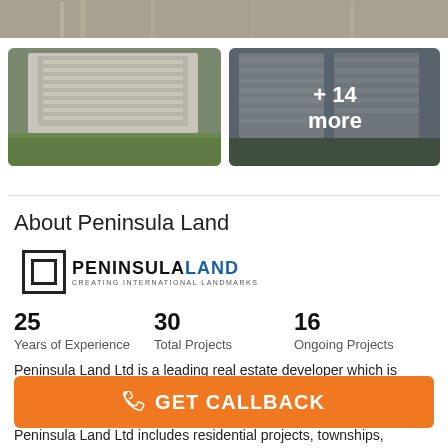[Figure (photo): Top cropped photo of apartment building complex]
[Figure (photo): Left thumbnail photo of residential high-rise building with green courtyard]
[Figure (photo): Right thumbnail photo of high-rise buildings with overlay text '+ 14 more']
About Peninsula Land
[Figure (logo): Peninsula Land logo with square icon and text 'PENINSULA LAND - CREATING INTERNATIONAL LANDMARKS']
25
Years of Experience
30
Total Projects
16
Ongoing Projects
Peninsula Land Ltd is a leading real estate developer which is currently building 20 million sq ft across several areas. Based in Mumbai, Peninsula Land Ltd is now working across other cities t…
Peninsula Land Ltd includes residential projects, townships,